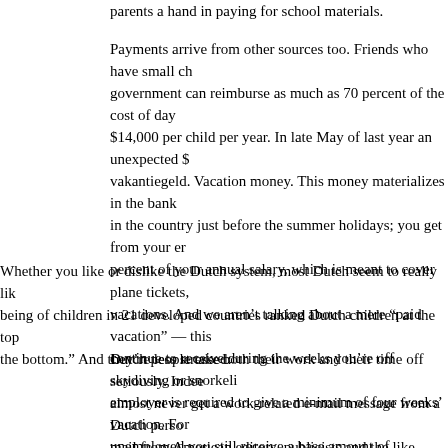parents a hand in paying for school materials.
Payments arrive from other sources too. Friends who have small ch government can reimburse as much as 70 percent of the cost of day $14,000 per child per year. In late May of last year an unexpected $ vakantiegeld. Vacation money. This money materializes in the bank in the country just before the summer holidays; you get from your er percent of your annual salary, which is meant to cover plane tickets, vacations. And we aren't talking about a mere “paid vacation” — this continue to receive during the weeks you're off skydiving or snorkeli employer is required to give a minimum of four weeks' vacation. For unemployed you still receive a base amount of vakantiegeld from th being that if you can’t go on vacation, you’ll get depressed and desp job.
Whether you like or dislike the Dutch system, most Dutch seem to really lik being of children in 21 developed countries ranked Dutch children at the top the bottom.” And they’re less stressed:
Dutch people take both their work and their time off seriously. Indee almost never get a work-related e-mail message from a Dutch perso mail from American editors, publicists and the like trickle in at any ti work only during work hours does not seem to make them less prod